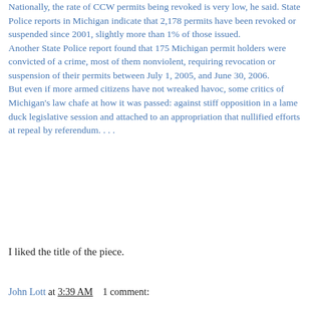Nationally, the rate of CCW permits being revoked is very low, he said. State Police reports in Michigan indicate that 2,178 permits have been revoked or suspended since 2001, slightly more than 1% of those issued. Another State Police report found that 175 Michigan permit holders were convicted of a crime, most of them nonviolent, requiring revocation or suspension of their permits between July 1, 2005, and June 30, 2006. But even if more armed citizens have not wreaked havoc, some critics of Michigan's law chafe at how it was passed: against stiff opposition in a lame duck legislative session and attached to an appropriation that nullified efforts at repeal by referendum. . . .
I liked the title of the piece.
John Lott at 3:39 AM    1 comment: